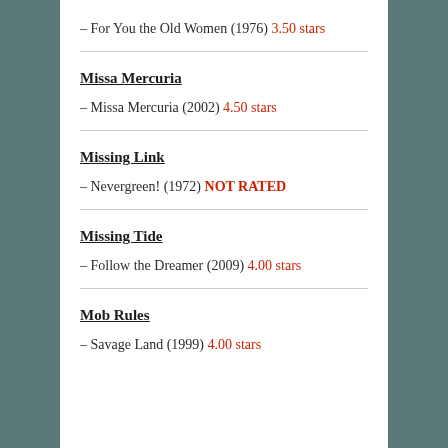– For You the Old Women (1976) 3.50 stars
Missa Mercuria
– Missa Mercuria (2002) 4.50 stars
Missing Link
– Nevergreen! (1972) NOT RATED
Missing Tide
– Follow the Dreamer (2009) 4.00 stars
Mob Rules
– Savage Land (1999) 4.00 stars